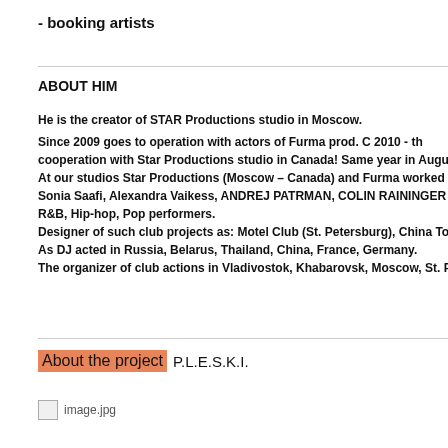- booking artists
ABOUT HIM
He is the creator of STAR Productions studio in Moscow.
Since 2009 goes to operation with actors of Furma prod. C 2010 - th cooperation with Star Productions studio in Canada! Same year in Augus At our studios Star Productions (Moscow – Canada) and Furma worked Sonia Saafi, Alexandra Vaikess, ANDREJ PATRMAN, COLIN RAININGER R&B, Hip-hop, Pop performers.
Designer of such club projects as: Motel Club (St. Petersburg), China To
As DJ acted in Russia, Belarus, Thailand, China, France, Germany.
The organizer of club actions in Vladivostok, Khabarovsk, Moscow, St. P
About the project P.L.E.S.K.I.
[Figure (photo): image.jpg placeholder]